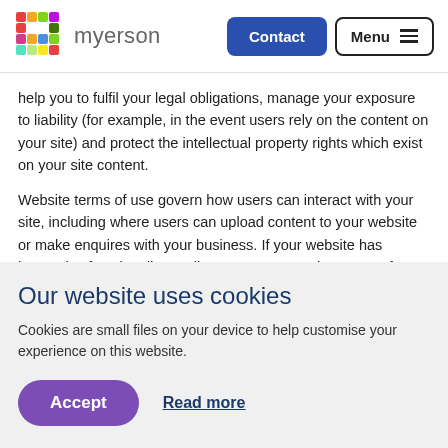myerson — Contact | Menu
help you to fulfil your legal obligations, manage your exposure to liability (for example, in the event users rely on the content on your site) and protect the intellectual property rights which exist on your site content.
Website terms of use govern how users can interact with your site, including where users can upload content to your website or make enquires with your business. If your website has interactive functionality or allows users to post in an open forum, it is important that your terms clearly set out what is and is not acceptable when posting content and state whether such forums are monitored by
Our website uses cookies
Cookies are small files on your device to help customise your experience on this website.
Accept   Read more